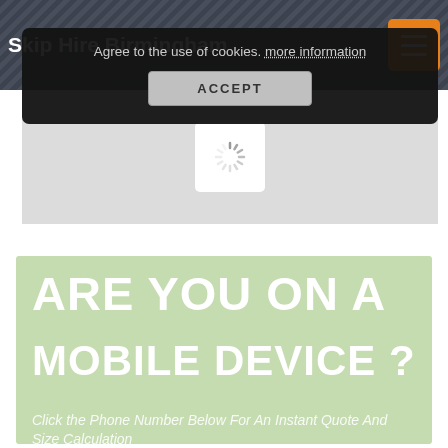Skip Hire Birmingham
[Figure (screenshot): Cookie consent banner with text 'Agree to the use of cookies. more information' and an ACCEPT button]
[Figure (other): Loading spinner / map placeholder in gray area]
[Figure (infographic): Green promotional banner reading 'ARE YOU ON A MOBILE DEVICE?' with mobile phone icon and text 'Click the Phone Number Below For An Instant Quote And Size Calculation']